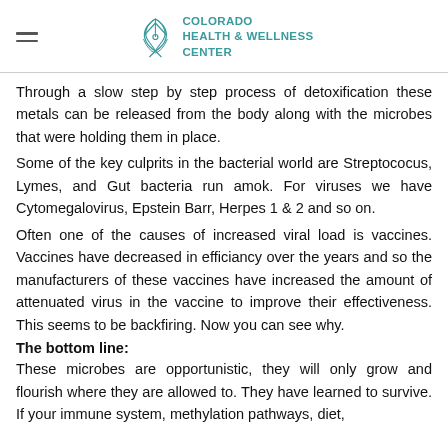Colorado Health & Wellness Center
Through a slow step by step process of detoxification these metals can be released from the body along with the microbes that were holding them in place.
Some of the key culprits in the bacterial world are Streptococus, Lymes, and Gut bacteria run amok. For viruses we have Cytomegalovirus, Epstein Barr, Herpes 1 & 2 and so on.
Often one of the causes of increased viral load is vaccines. Vaccines have decreased in efficiancy over the years and so the manufacturers of these vaccines have increased the amount of attenuated virus in the vaccine to improve their effectiveness. This seems to be backfiring. Now you can see why.
The bottom line:
These microbes are opportunistic, they will only grow and flourish where they are allowed to. They have learned to survive. If your immune system, methylation pathways, diet, and the amount of toxins you are exposed to are adequate,